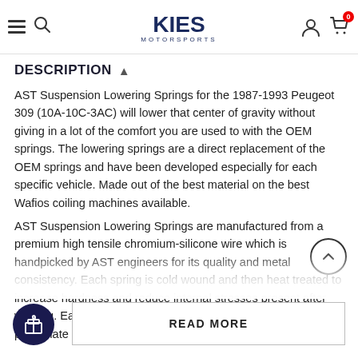KIES MOTORSPORTS
DESCRIPTION
AST Suspension Lowering Springs for the 1987-1993 Peugeot 309 (10A-10C-3AC) will lower that center of gravity without giving in a lot of the comfort you are used to with the OEM springs. The lowering springs are a direct replacement of the OEM springs and have been developed especially for each specific vehicle. Made out of the best material on the best Wafios coiling machines available.
AST Suspension Lowering Springs are manufactured from a premium high tensile chromium-silicone wire which is handpicked by AST engineers for its quality and metal consistency. Each spring is cold wound and then heat treated to increase hardness and reduce internal stresses present after winding. Each spring is then individually shot peened. phosphate and then ... the life of the
READ MORE